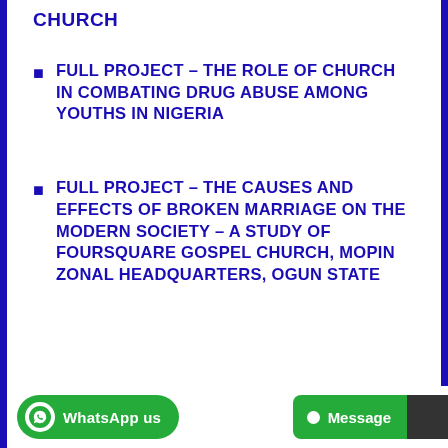CHURCH
FULL PROJECT – THE ROLE OF CHURCH IN COMBATING DRUG ABUSE AMONG YOUTHS IN NIGERIA
FULL PROJECT – THE CAUSES AND EFFECTS OF BROKEN MARRIAGE ON THE MODERN SOCIETY – A STUDY OF FOURSQUARE GOSPEL CHURCH, MOPIN ZONAL HEADQUARTERS, OGUN STATE